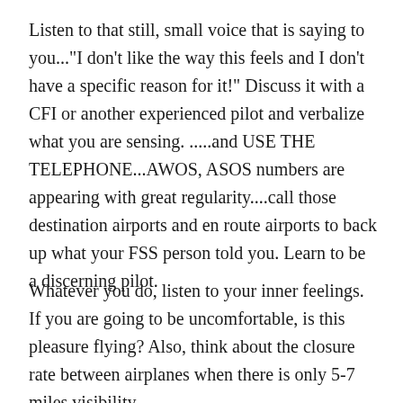Listen to that still, small voice that is saying to you..."I don't like the way this feels and I don't have a specific reason for it!" Discuss it with a CFI or another experienced pilot and verbalize what you are sensing. .....and USE THE TELEPHONE...AWOS, ASOS numbers are appearing with great regularity....call those destination airports and en route airports to back up what your FSS person told you. Learn to be a discerning pilot.
Whatever you do, listen to your inner feelings. If you are going to be uncomfortable, is this pleasure flying? Also, think about the closure rate between airplanes when there is only 5-7 miles visibility.